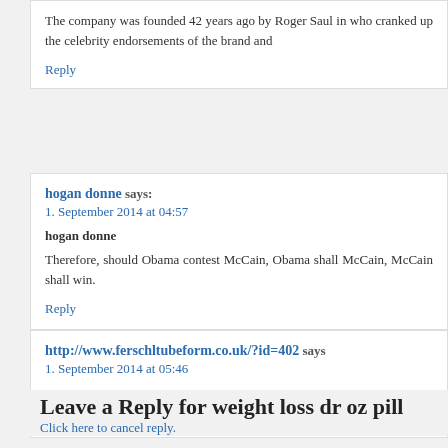The company was founded 42 years ago by Roger Saul in who cranked up the celebrity endorsements of the brand and
Reply
hogan donne says: 1. September 2014 at 04:57
hogan donne
Therefore, should Obama contest McCain, Obama shall McCain, McCain shall win.
Reply
http://www.ferschltubeform.co.uk/?id=402 says: 1. September 2014 at 05:46
http://www.ferschltubeform.co.uk/?id=402
Der Junge wurde später freigelassen und soll sein, einen gut
Reply
Leave a Reply for weight loss dr oz pill
Click here to cancel reply.